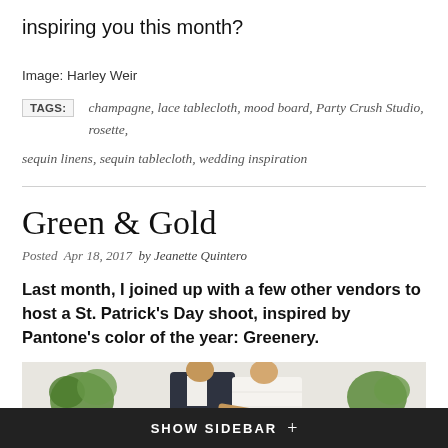inspiring you this month?
Image: Harley Weir
TAGS: champagne, lace tablecloth, mood board, Party Crush Studio, rosette, sequin linens, sequin tablecloth, wedding inspiration
Green & Gold
Posted Apr 18, 2017 by Jeanette Quintero
Last month, I joined up with a few other vendors to host a St. Patrick's Day shoot, inspired by Pantone's color of the year: Greenery.
[Figure (photo): A couple, groom in dark suit and bride in white dress, with green plants visible on either side]
SHOW SIDEBAR +